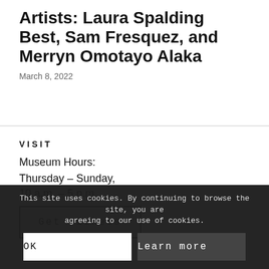Artists: Laura Spalding Best, Sam Fresquez, and Merryn Omotayo Alaka
March 8, 2022
VISIT
Museum Hours:
Thursday – Sunday,
10 a.m. – 5 p.m.
Get Tickets
This site uses cookies. By continuing to browse the site, you are agreeing to our use of cookies.
OK
Learn more